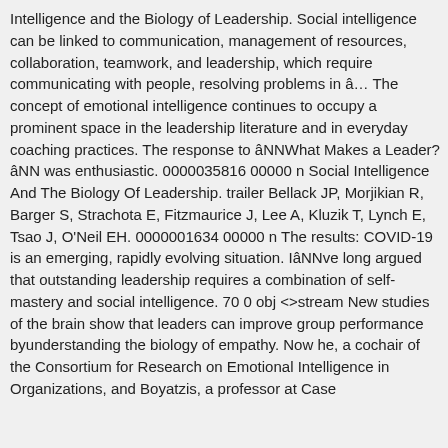Intelligence and the Biology of Leadership. Social intelligence can be linked to communication, management of resources, collaboration, teamwork, and leadership, which require communicating with people, resolving problems in â€¦ The concept of emotional intelligence continues to occupy a prominent space in the leadership literature and in everyday coaching practices. The response to â€œWhat Makes a Leader?â€ was enthusiastic. 0000035816 00000 n Social Intelligence And The Biology Of Leadership. trailer Bellack JP, Morjikian R, Barger S, Strachota E, Fitzmaurice J, Lee A, Kluzik T, Lynch E, Tsao J, O'Neil EH. 0000001634 00000 n The results: COVID-19 is an emerging, rapidly evolving situation. Iâ€™ve long argued that outstanding leadership requires a combination of self-mastery and social intelligence. 70 0 obj <>stream New studies of the brain show that leaders can improve group performance byunderstanding the biology of empathy. Now he, a cochair of the Consortium for Research on Emotional Intelligence in Organizations, and Boyatzis, a professor at Case